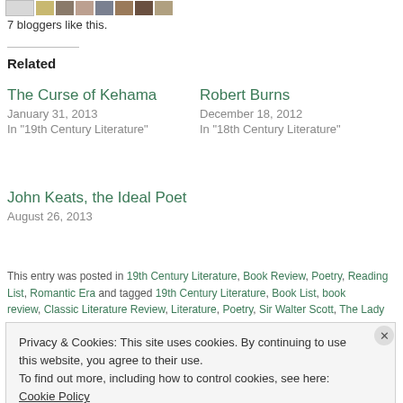[Figure (other): Row of blogger avatar thumbnails at top of page]
7 bloggers like this.
Related
The Curse of Kehama
January 31, 2013
In "19th Century Literature"
Robert Burns
December 18, 2012
In "18th Century Literature"
John Keats, the Ideal Poet
August 26, 2013
This entry was posted in 19th Century Literature, Book Review, Poetry, Reading List, Romantic Era and tagged 19th Century Literature, Book List, book review, Classic Literature Review, Literature, Poetry, Sir Walter Scott, The Lady
Privacy & Cookies: This site uses cookies. By continuing to use this website, you agree to their use.
To find out more, including how to control cookies, see here: Cookie Policy
Close and accept